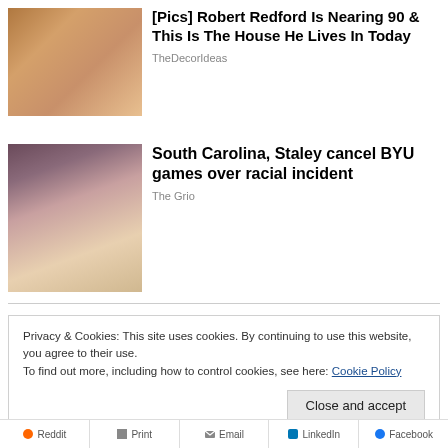[Figure (photo): Two people smiling, a man with reddish-brown hair and a woman]
[Pics] Robert Redford Is Nearing 90 & This Is The House He Lives In Today
TheDecorIdeas
[Figure (photo): A woman in a white blazer appearing to shout or coach on a basketball court]
South Carolina, Staley cancel BYU games over racial incident
The Grio
Privacy & Cookies: This site uses cookies. By continuing to use this website, you agree to their use.
To find out more, including how to control cookies, see here: Cookie Policy
Close and accept
Reddit  Print  Email  LinkedIn  Facebook